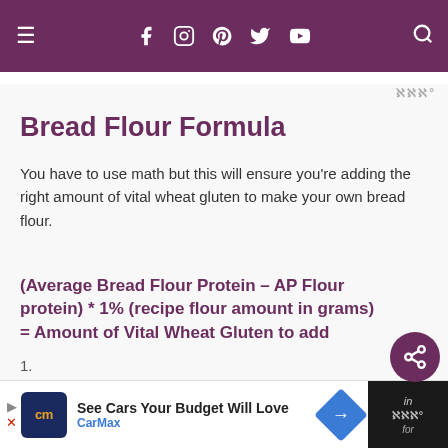≡  f  ◎  p  🐦  ▶  🔍
Bread Flour Formula
You have to use math but this will ensure you're adding the right amount of vital wheat gluten to make your own bread flour.
Bread flour can vary in protein however, is 12% protein.
[Figure (screenshot): What's Next card showing 'The Best No Knead Crust...' with bread image thumbnail]
1.
[Figure (screenshot): CarMax advertisement banner: 'See Cars Your Budget Will Love' with CarMax logo and navigation arrow icon]